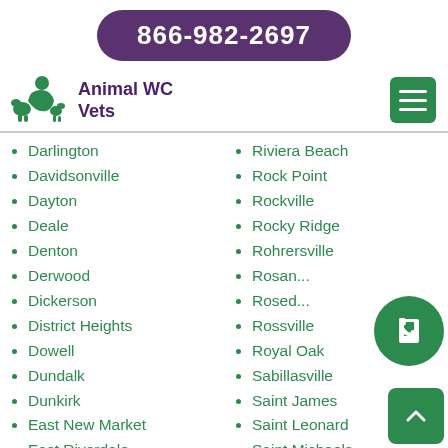866-982-2697
[Figure (logo): Animal WC Vets logo with green silhouette of person with animals and hamburger menu icon]
Darlington
Davidsonville
Dayton
Deale
Denton
Derwood
Dickerson
District Heights
Dowell
Dundalk
Dunkirk
East New Market
East Riverdale
Riviera Beach
Rock Point
Rockville
Rocky Ridge
Rohrersville
Rosamond
Roseda
Rossville
Royal Oak
Sabillasville
Saint James
Saint Leonard
Saint Michaels